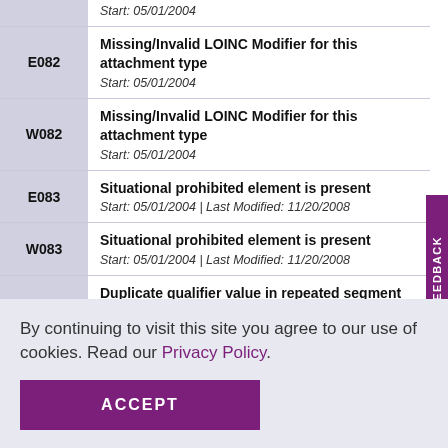| Code | Description |
| --- | --- |
|  | Start: 05/01/2004 |
| E082 | Missing/Invalid LOINC Modifier for this attachment type
Start: 05/01/2004 |
| W082 | Missing/Invalid LOINC Modifier for this attachment type
Start: 05/01/2004 |
| E083 | Situational prohibited element is present
Start: 05/01/2004 | Last Modified: 11/20/2008 |
| W083 | Situational prohibited element is present
Start: 05/01/2004 | Last Modified: 11/20/2008 |
| E084 | Duplicate qualifier value in repeated segment within a single loop |
By continuing to visit this site you agree to our use of cookies. Read our Privacy Policy.
ACCEPT